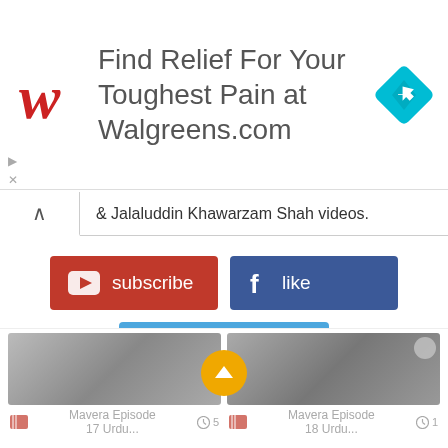[Figure (screenshot): Walgreens advertisement banner — 'Find Relief For Your Toughest Pain at Walgreens.com' with Walgreens logo (red cursive W) and a blue navigation/map diamond icon on the right. Small play and close controls at bottom left of ad.]
& Jalaluddin Khawarzam Shah videos.
[Figure (screenshot): Three social media call-to-action buttons: red YouTube 'subscribe' button, dark blue Facebook 'like' button, and light blue Twitter 'follow us' button.]
By clicking on the button(s), you agree with Terms of Use & Privacy Policy
[Figure (screenshot): Two video thumbnail cards at the bottom: 'Mavera Episode 17 Urdu...' and 'Mavera Episode 18 Urdu...' with film reel icons and clock icons. A yellow circular scroll-up arrow button overlaid between the two cards.]